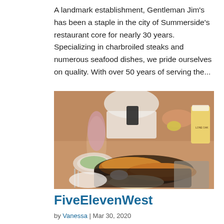A landmark establishment, Gentleman Jim's has been a staple in the city of Summerside's restaurant core for nearly 30 years. Specializing in charbroiled steaks and numerous seafood dishes, we pride ourselves on quality. With over 50 years of serving the...
[Figure (photo): A restaurant table scene showing a wine glass with rosé, a plate of fried fish, fries, and coleslaw, and a glass of beer, with a person squeezing a lemon in the background and a woman holding a phone.]
FiveElevenWest
by Vanessa | Mar 30, 2020